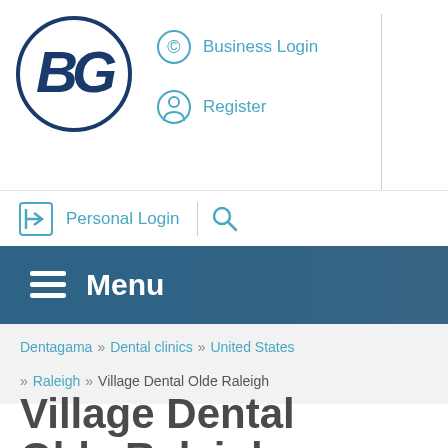[Figure (logo): Dentagama logo: circular dark blue border with stylized BG letters inside]
Business Login | Register
Personal Login | Search
Menu
Dentagama » Dental clinics » United States » Raleigh » Village Dental Olde Raleigh
Village Dental Olde Raleigh